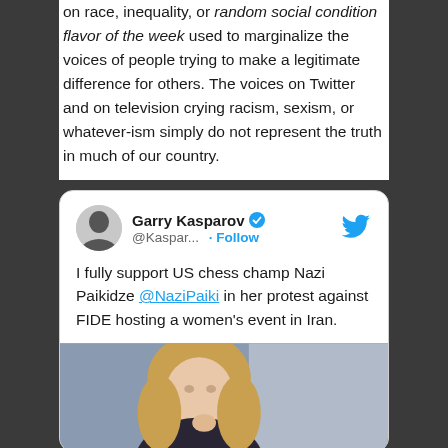on race, inequality, or random social condition flavor of the week used to marginalize the voices of people trying to make a legitimate difference for others. The voices on Twitter and on television crying racism, sexism, or whatever-ism simply do not represent the truth in much of our country.
[Figure (screenshot): Embedded tweet from @Kaspar... (Garry Kasparov) with verified badge and Twitter bird logo. Tweet text: 'I fully support US chess champ Nazi Paikidze @NaziPaiki in her protest against FIDE hosting a women's event in Iran.' Includes a photo of a young blonde woman.]